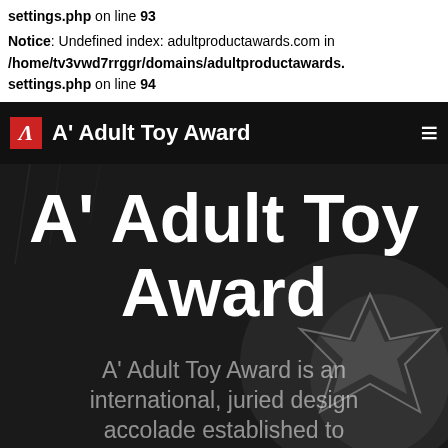settings.php on line 93
Notice: Undefined index: adultproductawards.com in /home/tv3vwd7rrggr/domains/adultproductawards.settings.php on line 94
A' Adult Toy Award
A' Adult Toy Award
A' Adult Toy Award is an international, juried design accolade established to